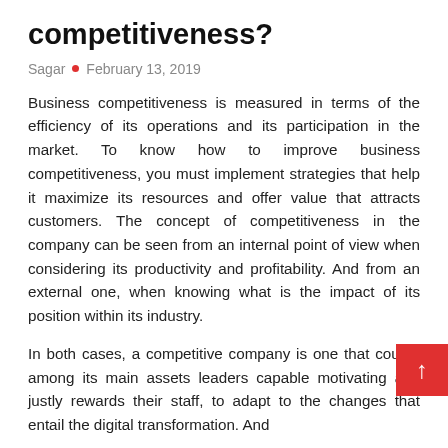competitiveness?
Sagar • February 13, 2019
Business competitiveness is measured in terms of the efficiency of its operations and its participation in the market. To know how to improve business competitiveness, you must implement strategies that help it maximize its resources and offer value that attracts customers. The concept of competitiveness in the company can be seen from an internal point of view when considering its productivity and profitability. And from an external one, when knowing what is the impact of its position within its industry.
In both cases, a competitive company is one that counts among its main assets leaders capable motivating and justly rewards their staff, to adapt to the changes that entail the digital transformation. And